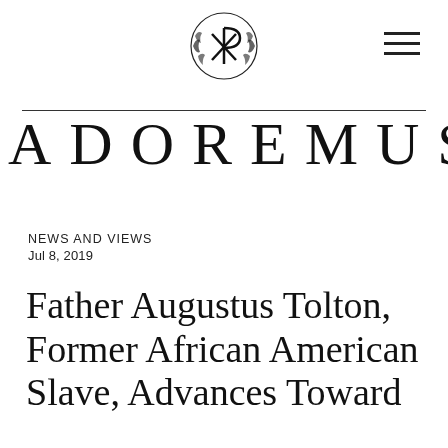ADOREMUS — logo and navigation header
ADOREMUS
NEWS AND VIEWS
Jul 8, 2019
Father Augustus Tolton, Former African American Slave, Advances Toward